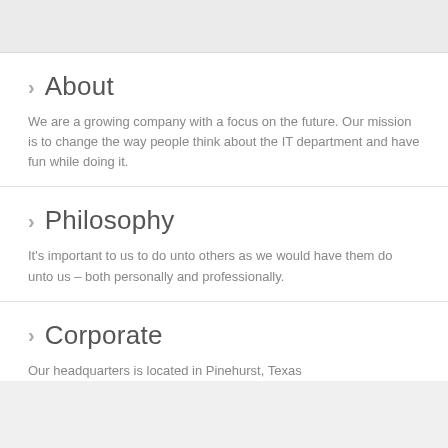About
We are a growing company with a focus on the future. Our mission is to change the way people think about the IT department and have fun while doing it.
Philosophy
It's important to us to do unto others as we would have them do unto us – both personally and professionally.
Corporate
Our headquarters is located in Pinehurst, Texas